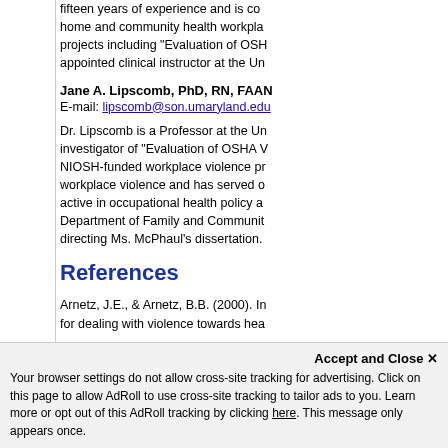fifteen years of experience and is co… home and community health workpla… projects including "Evaluation of OSH… appointed clinical instructor at the Un…
Jane A. Lipscomb, PhD, RN, FAAN
E-mail: lipscomb@son.umaryland.edu
Dr. Lipscomb is a Professor at the Un… investigator of "Evaluation of OSHA V… NIOSH-funded workplace violence pr… workplace violence and has served o… active in occupational health policy a… Department of Family and Communit… directing Ms. McPhaul's dissertation.
References
Arnetz, J.E., & Arnetz, B.B. (2000). In… for dealing with violence towards hea…
Arnetz, J.E., Arnetz, B.B., & Soderma… incidence at a large, regional hospital…
Bensley, L., Nelson, N., Kaufman, J.,…
Accept and Close ✕
Your browser settings do not allow cross-site tracking for advertising. Click on this page to allow AdRoll to use cross-site tracking to tailor ads to you. Learn more or opt out of this AdRoll tracking by clicking here. This message only appears once.